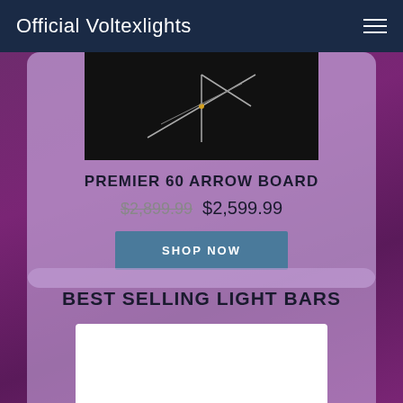Official Voltexlights
PREMIER 60 ARROW BOARD
$2,899.99 $2,599.99
SHOP NOW
BEST SELLING LIGHT BARS
[Figure (photo): Photo of a light bar product on white background, partially visible at bottom of page]